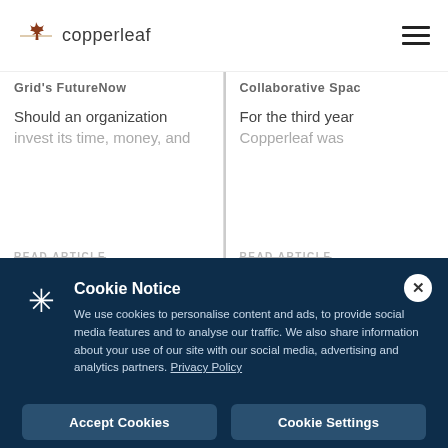[Figure (logo): Copperleaf logo with maple leaf icon and text 'copperleaf']
Grid's FutureNow
Should an organization invest its time, money, and
READ ARTICLE
Collaborative Spac
For the third year Copperleaf was
READ ARTICLE
Cookie Notice
We use cookies to personalise content and ads, to provide social media features and to analyse our traffic. We also share information about your use of our site with our social media, advertising and analytics partners. Privacy Policy
Accept Cookies
Cookie Settings